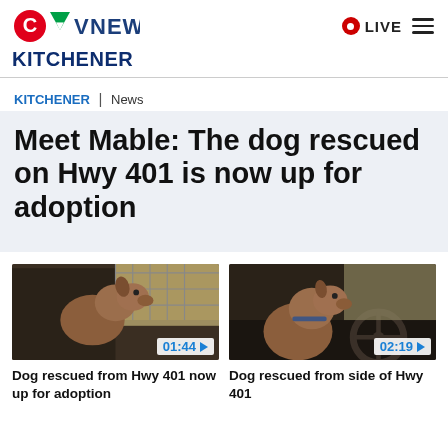CTV News KITCHENER | LIVE
KITCHENER | News
Meet Mable: The dog rescued on Hwy 401 is now up for adoption
[Figure (photo): Video thumbnail of a dog sitting in a car, with timer 01:44 and play button]
Dog rescued from Hwy 401 now up for adoption
[Figure (photo): Video thumbnail of a dog sitting in a car near a steering wheel, with timer 02:19 and play button]
Dog rescued from side of Hwy 401